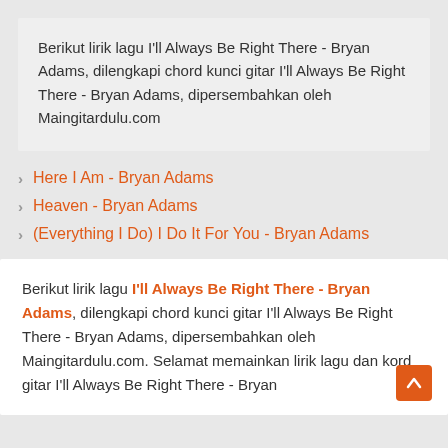Berikut lirik lagu I'll Always Be Right There - Bryan Adams, dilengkapi chord kunci gitar I'll Always Be Right There - Bryan Adams, dipersembahkan oleh Maingitardulu.com
Here I Am - Bryan Adams
Heaven - Bryan Adams
(Everything I Do) I Do It For You - Bryan Adams
Berikut lirik lagu I'll Always Be Right There - Bryan Adams, dilengkapi chord kunci gitar I'll Always Be Right There - Bryan Adams, dipersembahkan oleh Maingitardulu.com. Selamat memainkan lirik lagu dan kord gitar I'll Always Be Right There - Bryan